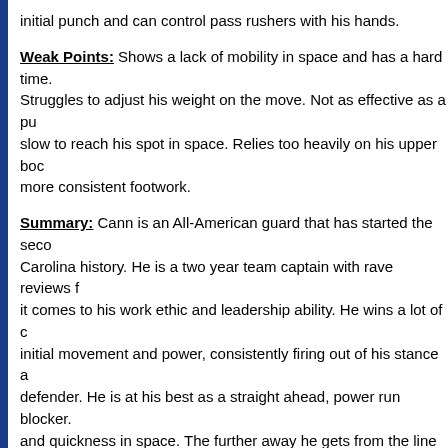initial punch and can control pass rushers with his hands.
Weak Points: Shows a lack of mobility in space and has a hard time. Struggles to adjust his weight on the move. Not as effective as a pull, slow to reach his spot in space. Relies too heavily on his upper body, more consistent footwork.
Summary: Cann is an All-American guard that has started the second most games in Carolina history. He is a two year team captain with rave reviews from coaches when it comes to his work ethic and leadership ability. He wins a lot of one on one battles with initial movement and power, consistently firing out of his stance and driving the defender. He is at his best as a straight ahead, power run blocker. He lacks athleticism and quickness in space. The further away he gets from the line of scrimmage, his poor footwork and lack of reaction speed are exposed. He shows dominant power but must become a better athlete if he wants to stay at left guard. He could project as a starting guard in the NFL.
*Cann could easily be the top interior guy in this class. He is a much better player than I think. He got better as the year went on and while I won't say his blocking in space is a strong point, he showed that he can get the job done well enough. He has some moments here and there. He's at his best in a straight ahead role, so he...